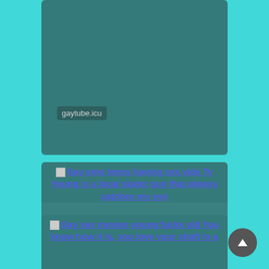[Figure (screenshot): Partial video thumbnail card with teal background and 'gaytube.icu' label overlay]
[Figure (screenshot): Video thumbnail card with linked title 'Gay emo teens having sex vids Ty Young is a local skater guy that always catches my eye', Download button, duration 5:20, and caption below]
[Figure (screenshot): Partial video thumbnail card with linked title 'Gay sex movies young fucks old You know how it is, you love your shaft in a' partially visible at bottom]